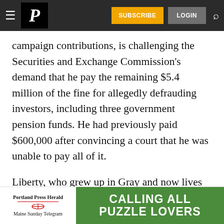Portland Press Herald — navigation bar with subscribe, login, search
campaign contributions, is challenging the Securities and Exchange Commission's demand that he pay the remaining $5.4 million of the fine for allegedly defrauding investors, including three government pension funds. He had previously paid $600,000 after convincing a court that he was unable to pay all of it.
Liberty, who grew up in Gray and now lives in Florida, agreed to settle the SEC allegations in
[Figure (advertisement): Portland Press Herald / Maine Sunday Telegram advertisement banner: CALLING ALL PUZZLE LOVERS, green background]